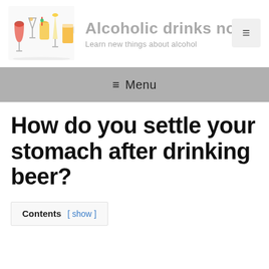[Figure (illustration): Colorful alcoholic drinks and glassware illustration used as site logo]
Alcoholic drinks notes
Learn new things about alcohol
[Figure (other): Hamburger menu button icon]
≡ Menu
How do you settle your stomach after drinking beer?
Contents [ show ]